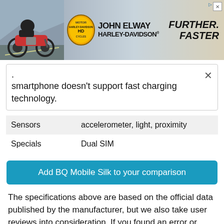[Figure (screenshot): Advertisement banner for John Elway Harley-Davidson with motorcycle image on left, Harley-Davidson shield logo, text 'JOHN ELWAY HARLEY-DAVIDSON' and 'FURTHER. FASTER' on right]
smartphone doesn't support fast charging technology.
| Sensors | accelerometer, light, proximity |
| Specials | Dual SIM |
Add BQ Mobile Silk to your comparison
The specifications above are based on the official data published by the manufacturer, but we also take user reviews into consideration. If you found an error or something lacking in the specifications above for the BQ Mobile Silk, then don't hesitate and signal the problem to us.